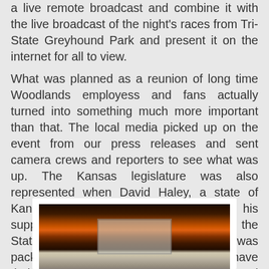a live remote broadcast and combine it with the live broadcast of the night's races from Tri-State Greyhound Park and present it on the internet for all to view.
What was planned as a reunion of long time Woodlands employess and fans actually turned into something much more important than that. The local media picked up on the event from our press releases and sent camera crews and reporters to see what was up. The Kansas legislature was also represented when David Haley, a state of Kansas senator, showed up to express his support in returning greyhound racing to the State of Kansas. The Sportspage Lounge was packed with people who would love to have their jobs in the greyhound industry returned and also with a large group of greyhound racing fans who expressed a desire to support the return of pari-mutuel greyhound racing to the state of Kansas. The support for racing was heard loud and clear and the prospects for its return are beginning to look better by the day.
[Figure (photo): Dark photograph showing what appears to be the interior of a venue or bar with a screen or display visible in the center, taken at night with warm orange/red lighting in the background.]